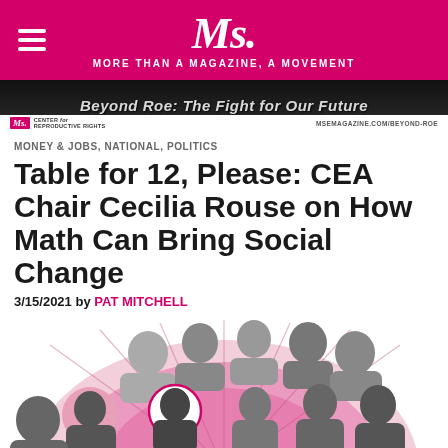Ms. — MORE THAN A MAGAZINE, A MOVEMENT
[Figure (photo): Ms. Magazine banner ad with text 'Beyond Roe: The Fight for Our Future', featuring Ms. Center for Reproductive Rights logo and URL msemagazine.com/beyond-roe]
MONEY & JOBS, NATIONAL, POLITICS
Table for 12, Please: CEA Chair Cecilia Rouse on How Math Can Bring Social Change
3/15/2021 by PAT MITCHELL
[Figure (photo): Black and white photo collage of approximately 12 women of diverse backgrounds seated around a table, arranged in a fan/semicircle pink graphic, depicting CEA Chair Cecilia Rouse and other prominent women economists and officials]